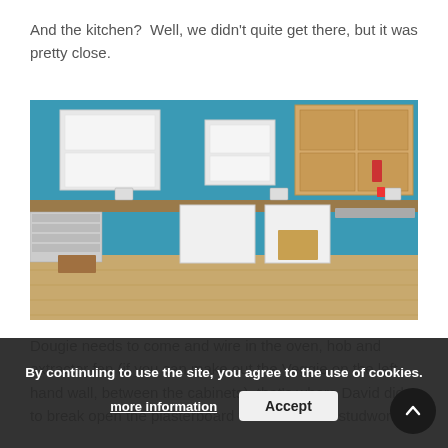And the kitchen?  Well, we didn't quite get there, but it was pretty close.
[Figure (photo): Kitchen under construction with teal/blue walls, white and wood-finish upper cabinets being installed, wood countertops on base cabinets, open lower cabinet carcasses without doors, wood laminate flooring, sink area visible on right side.]
Dougie needs to come and wire in the oven, hob and extractor fan (if you can make out the Veggie on the left-hand wall, between the cabinets), that's where David did to break open the plasterboard to install some studwork fo
By continuing to use the site, you agree to the use of cookies.
more information
Accept